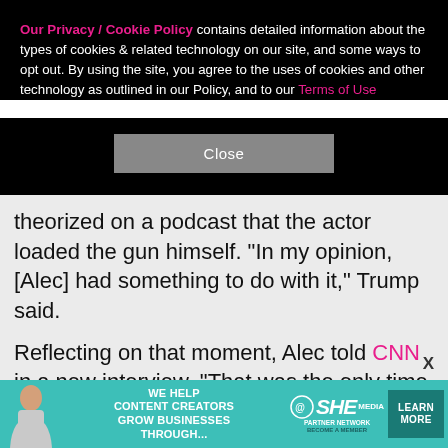Our Privacy / Cookie Policy contains detailed information about the types of cookies & related technology on our site, and some ways to opt out. By using the site, you agree to the uses of cookies and other technology as outlined in our Policy, and to our Terms of Use
Close
theorized on a podcast that the actor loaded the gun himself. "In my opinion, [Alec] had something to do with it," Trump said.
Reflecting on that moment, Alec told CNN in a new interview, "That was the only time that I was worried about what was going to happen. Here was Trump, who instructed people to commit acts of violence, and he was pointing the finger at me saying I was responsible
[Figure (infographic): Advertisement banner for SHE Media Partner Network: 'We Help Content Creators Grow Businesses Through...' with a LEARN MORE button and photo of a woman.]